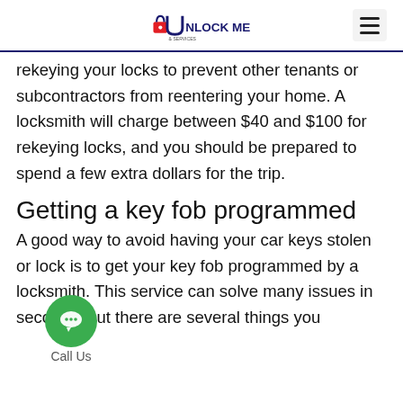Unlock Me & Services
rekeying your locks to prevent other tenants or subcontractors from reentering your home. A locksmith will charge between $40 and $100 for rekeying locks, and you should be prepared to spend a few extra dollars for the trip.
Getting a key fob programmed
A good way to avoid having your car keys stolen or lo... is to get your key fob programmed by a loc... ...h. This service can solve many issues in seconds, but there are several things you